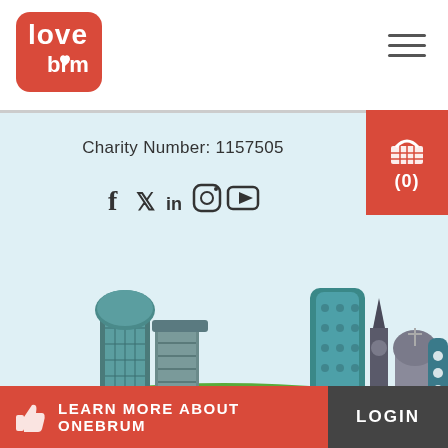[Figure (logo): Love Brum logo — red rounded square with 'love' in white hand-drawn font on top and 'brum' with a heart in white below]
Charity Number: 1157505
[Figure (other): Social media icons row: Facebook (f), Twitter bird, LinkedIn (in), Instagram, YouTube play button]
[Figure (illustration): Birmingham city skyline illustration with colorful buildings on a green hill, light blue background]
LEARN MORE ABOUT ONEBRUM
LOGIN